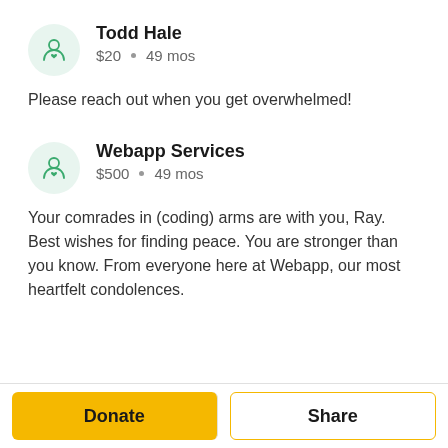Todd Hale
$20 • 49 mos
Please reach out when you get overwhelmed!
Webapp Services
$500 • 49 mos
Your comrades in (coding) arms are with you, Ray. Best wishes for finding peace. You are stronger than you know. From everyone here at Webapp, our most heartfelt condolences.
Donate
Share